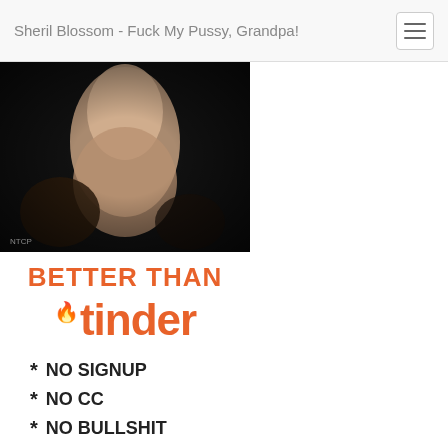Sheril Blossom - Fuck My Pussy, Grandpa!
[Figure (photo): Dark background photo showing a blurred light-colored figure/torso]
[Figure (infographic): Advertisement banner: BETTER THAN tinder * NO SIGNUP * NO CC * NO BULLSHIT with TAP HERE TO SEE PICS orange button]